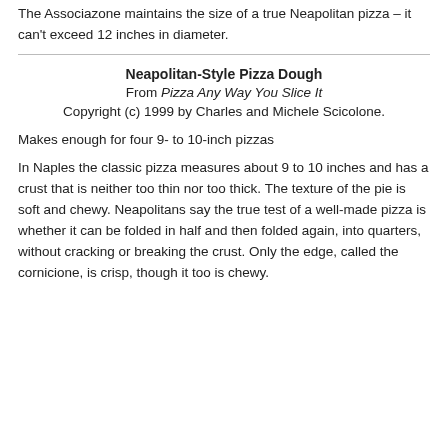The Associazone maintains the size of a true Neapolitan pizza – it can't exceed 12 inches in diameter.
Neapolitan-Style Pizza Dough
From Pizza Any Way You Slice It
Copyright (c) 1999 by Charles and Michele Scicolone.
Makes enough for four 9- to 10-inch pizzas
In Naples the classic pizza measures about 9 to 10 inches and has a crust that is neither too thin nor too thick. The texture of the pie is soft and chewy. Neapolitans say the true test of a well-made pizza is whether it can be folded in half and then folded again, into quarters, without cracking or breaking the crust. Only the edge, called the cornicione, is crisp, though it too is chewy.